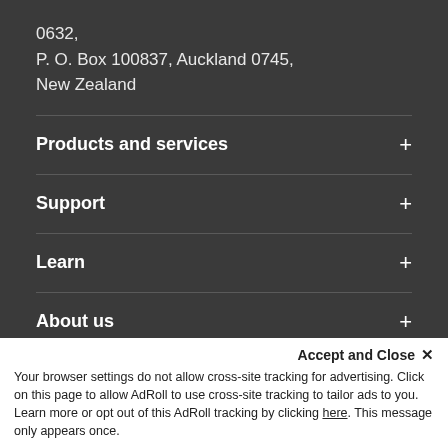0632,
P. O. Box 100837, Auckland 0745,
New Zealand
Products and services
Support
Learn
About us
Grundfos locations
Quick links
Accept and Close ✕
Your browser settings do not allow cross-site tracking for advertising. Click on this page to allow AdRoll to use cross-site tracking to tailor ads to you. Learn more or opt out of this AdRoll tracking by clicking here. This message only appears once.